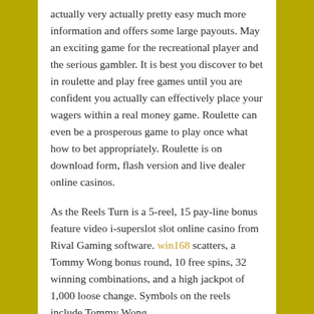actually very actually pretty easy much more information and offers some large payouts. May an exciting game for the recreational player and the serious gambler. It is best you discover to bet in roulette and play free games until you are confident you actually can effectively place your wagers within a real money game. Roulette can even be a prosperous game to play once what how to bet appropriately. Roulette is on download form, flash version and live dealer online casinos.
As the Reels Turn is a 5-reel, 15 pay-line bonus feature video i-superslot slot online casino from Rival Gaming software. win168 scatters, a Tommy Wong bonus round, 10 free spins, 32 winning combinations, and a high jackpot of 1,000 loose change. Symbols on the reels include Tommy Wong,